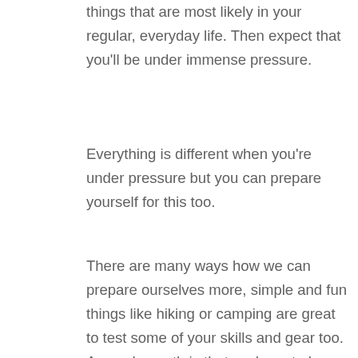things that are most likely in your regular, everyday life. Then expect that you'll be under immense pressure.
Everything is different when you're under pressure but you can prepare yourself for this too.
There are many ways how we can prepare ourselves more, simple and fun things like hiking or camping are great to test some of your skills and gear too. A popular myth is that we have to be physically prepared only through more "macho" activities like martial arts or shooting at the range and similar.
It is person-to-person based and sometimes we are limited by our own living conditions to practice some of the above activities. If you are living a day to day life in a big city with your family and kids,